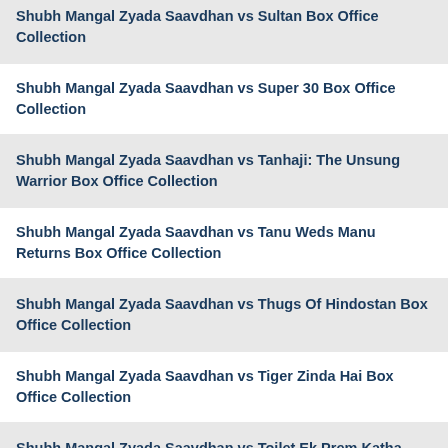Shubh Mangal Zyada Saavdhan vs Sultan Box Office Collection
Shubh Mangal Zyada Saavdhan vs Super 30 Box Office Collection
Shubh Mangal Zyada Saavdhan vs Tanhaji: The Unsung Warrior Box Office Collection
Shubh Mangal Zyada Saavdhan vs Tanu Weds Manu Returns Box Office Collection
Shubh Mangal Zyada Saavdhan vs Thugs Of Hindostan Box Office Collection
Shubh Mangal Zyada Saavdhan vs Tiger Zinda Hai Box Office Collection
Shubh Mangal Zyada Saavdhan vs Toilet Ek Prem Katha Box Office Collection